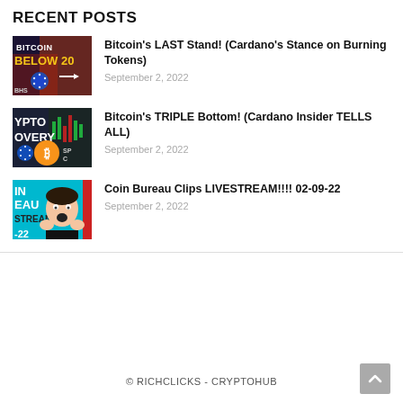RECENT POSTS
[Figure (photo): Thumbnail for Bitcoin's LAST Stand post showing Bitcoin below 20 text with Cardano logo]
Bitcoin's LAST Stand! (Cardano's Stance on Burning Tokens)
September 2, 2022
[Figure (photo): Thumbnail for Bitcoin's TRIPLE Bottom post showing crypto recovery with Cardano and Bitcoin logos]
Bitcoin's TRIPLE Bottom! (Cardano Insider TELLS ALL)
September 2, 2022
[Figure (photo): Thumbnail for Coin Bureau Clips LIVESTREAM showing man with surprised face]
Coin Bureau Clips LIVESTREAM!!!! 02-09-22
September 2, 2022
© RICHCLICKS - CRYPTOHUB